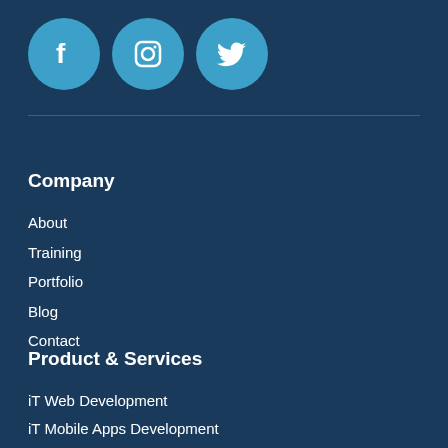[Figure (illustration): Three circular social media icons (Facebook, Instagram, Twitter) with light blue backgrounds on dark blue background]
Company
About
Training
Portfolio
Blog
Contact
Product & Services
iT Web Development
iT Mobile Apps Development
iT Networking